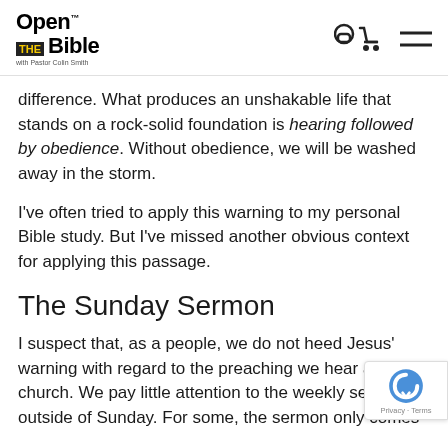Open the Bible with Pastor Colin Smith
difference. What produces an unshakable life that stands on a rock-solid foundation is hearing followed by obedience. Without obedience, we will be washed away in the storm.
I've often tried to apply this warning to my personal Bible study. But I've missed another obvious context for applying this passage.
The Sunday Sermon
I suspect that, as a people, we do not heed Jesus' warning with regard to the preaching we hear at church. We pay little attention to the weekly sermon outside of Sunday. For some, the sermon only comes